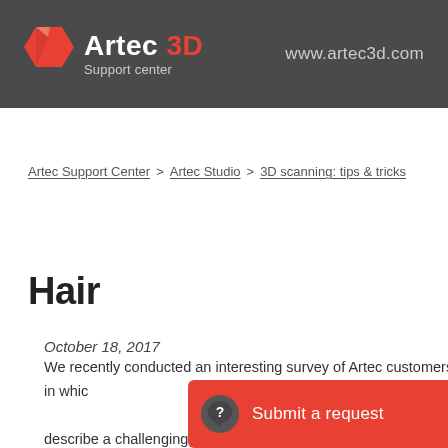Artec 3D Support center | www.artec3d.com
Artec Support Center > Artec Studio > 3D scanning: tips & tricks
Hair
October 18, 2017
We recently conducted an interesting survey of Artec customers in which describe a challenging 3D-scanning ... nde typical workflow for capturing hu ... abo